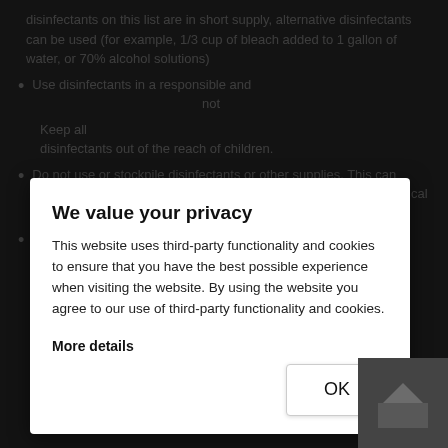disinfectants on this list are in short supply, alternative disinfectants can be used (for example, 1/3 cup of bleach added to 1 gallon of water, or 70% alcohol solutions)
Use disinfectants in a responsible and ... not ...
Keep all disinfectants out of the reach of children.
Do not use or stockpile disinfectants or other supplies. This can result in shortages of appropriate products for others to use in critical situations.
Always wear gloves appropriate for the chemicals being used when you are cleaning and disinfecting. Additional personal protective equipment may be needed based on setting and product. For more information, see CDC's website on Cleaning and Disinfection for Community Facilities.
[Figure (screenshot): Cookie consent modal dialog overlay on a dark government webpage. Modal has title 'We value your privacy', body text about third-party cookies, 'More details' link, and an OK button.]